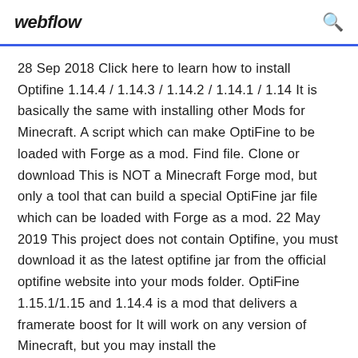webflow
28 Sep 2018 Click here to learn how to install Optifine 1.14.4 / 1.14.3 / 1.14.2 / 1.14.1 / 1.14 It is basically the same with installing other Mods for Minecraft. A script which can make OptiFine to be loaded with Forge as a mod. Find file. Clone or download This is NOT a Minecraft Forge mod, but only a tool that can build a special OptiFine jar file which can be loaded with Forge as a mod. 22 May 2019 This project does not contain Optifine, you must download it as the latest optifine jar from the official optifine website into your mods folder. OptiFine 1.15.1/1.15 and 1.14.4 is a mod that delivers a framerate boost for It will work on any version of Minecraft, but you may install the